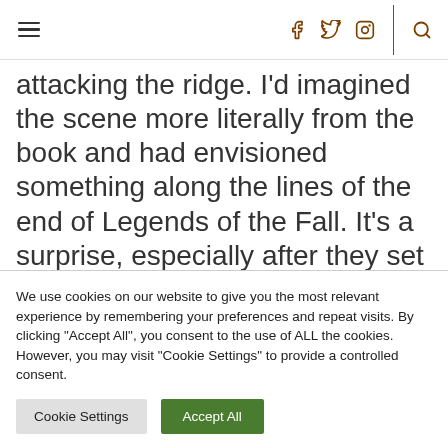[navigation bar with hamburger menu and social icons: f, twitter, instagram, search]
attacking the ridge. I'd imagined the scene more literally from the book and had envisioned something along the lines of the end of Legends of the Fall. It's a surprise, especially after they set up book readers for a real bear with the droppings,
We use cookies on our website to give you the most relevant experience by remembering your preferences and repeat visits. By clicking "Accept All", you consent to the use of ALL the cookies. However, you may visit "Cookie Settings" to provide a controlled consent.